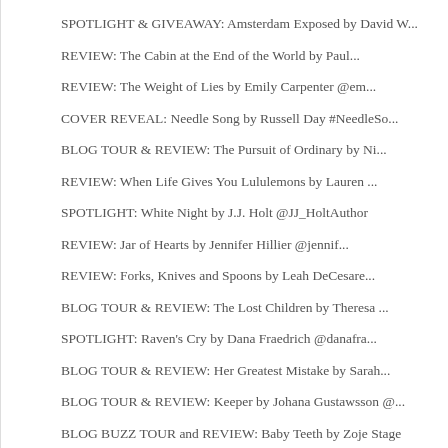SPOTLIGHT & GIVEAWAY: Amsterdam Exposed by David W...
REVIEW: The Cabin at the End of the World by Paul...
REVIEW: The Weight of Lies by Emily Carpenter @em...
COVER REVEAL: Needle Song by Russell Day #NeedleSo...
BLOG TOUR & REVIEW: The Pursuit of Ordinary by Ni...
REVIEW: When Life Gives You Lululemons by Lauren ...
SPOTLIGHT: White Night by J.J. Holt @JJ_HoltAuthor
REVIEW: Jar of Hearts by Jennifer Hillier @jennif...
REVIEW: Forks, Knives and Spoons by Leah DeCesare...
BLOG TOUR & REVIEW: The Lost Children by Theresa ...
SPOTLIGHT: Raven's Cry by Dana Fraedrich @danafra...
BLOG TOUR & REVIEW: Her Greatest Mistake by Sarah...
BLOG TOUR & REVIEW: Keeper by Johana Gustawsson @...
BLOG BUZZ TOUR and REVIEW: Baby Teeth by Zoje Stage
SPOTLIGHT: Blind Dates, Big Love & Six Tinder Wee...
SPOTLIGHT: The Performance Cortex by Zach Schonbr...